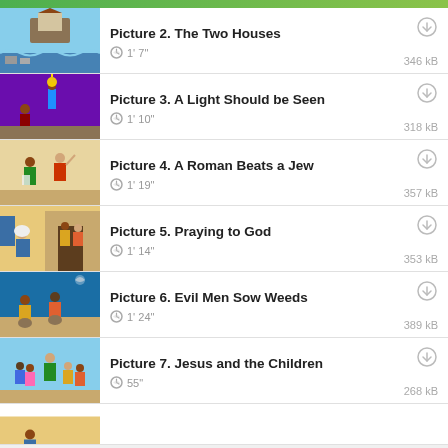Picture 2. The Two Houses | 1' 7" | 346 kB
Picture 3. A Light Should be Seen | 1' 10" | 318 kB
Picture 4. A Roman Beats a Jew | 1' 19" | 357 kB
Picture 5. Praying to God | 1' 14" | 353 kB
Picture 6. Evil Men Sow Weeds | 1' 24" | 389 kB
Picture 7. Jesus and the Children | 55" | 268 kB
Picture 8. (partial)